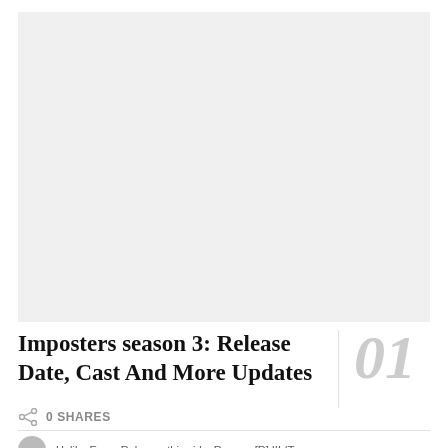[Figure (photo): Large placeholder image area, light gray background]
Imposters season 3: Release Date, Cast And More Updates
01
0 SHARES
Unlike Every Release, this side, Reason [R] III (T...